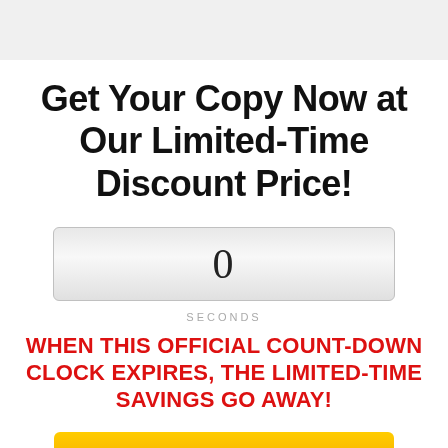Get Your Copy Now at Our Limited-Time Discount Price!
[Figure (other): Countdown timer display box showing the number 0]
SECONDS
WHEN THIS OFFICIAL COUNT-DOWN CLOCK EXPIRES, THE LIMITED-TIME SAVINGS GO AWAY!
[Figure (other): Orange/yellow CTA button partially visible at bottom]